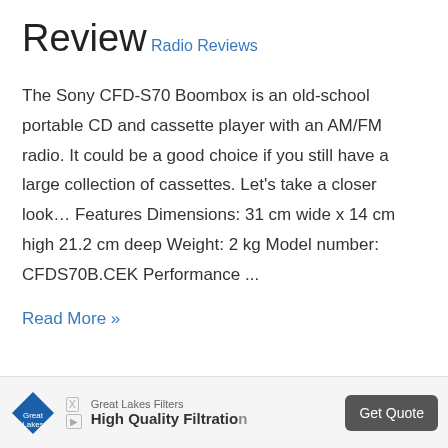Review
Radio Reviews
The Sony CFD-S70 Boombox is an old-school portable CD and cassette player with an AM/FM radio. It could be a good choice if you still have a large collection of cassettes. Let's take a closer look… Features Dimensions: 31 cm wide x 14 cm high 21.2 cm deep Weight: 2 kg Model number: CFDS70B.CEK Performance ...
Read More »
[Figure (other): Advertisement banner: Great Lakes Filters logo (blue diamond shape), text 'Great Lakes Filters' and 'High Quality Filtration', with a grey 'Get Quote' button on the right.]